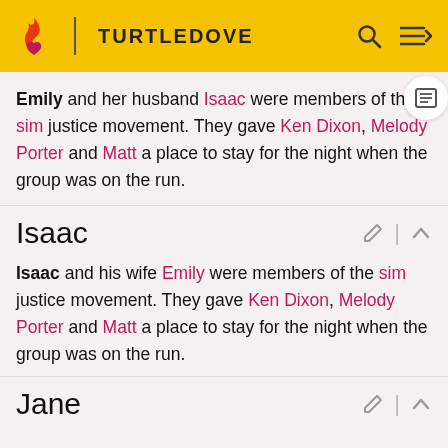TURTLEDOVE
Emily and her husband Isaac were members of the sim justice movement. They gave Ken Dixon, Melody Porter and Matt a place to stay for the night when the group was on the run.
Isaac
Isaac and his wife Emily were members of the sim justice movement. They gave Ken Dixon, Melody Porter and Matt a place to stay for the night when the group was on the run.
Jane